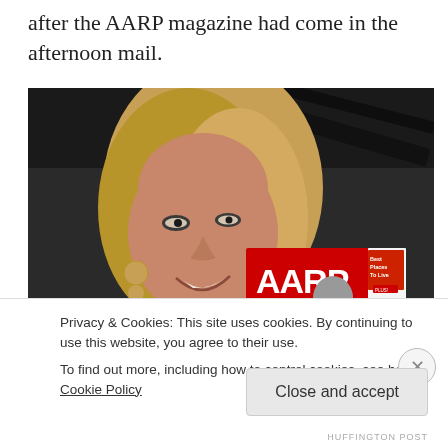after the AARP magazine had come in the afternoon mail.
[Figure (photo): A woman with blonde hair smiling and holding an AARP magazine, taken in a dim room. The AARP magazine cover is visible with the text 'Best Places to Live' and '31 Proven Age-Erasing Secrets'.]
Privacy & Cookies: This site uses cookies. By continuing to use this website, you agree to their use.
To find out more, including how to control cookies, see here: Cookie Policy
Close and accept
HUFFINGTON POST